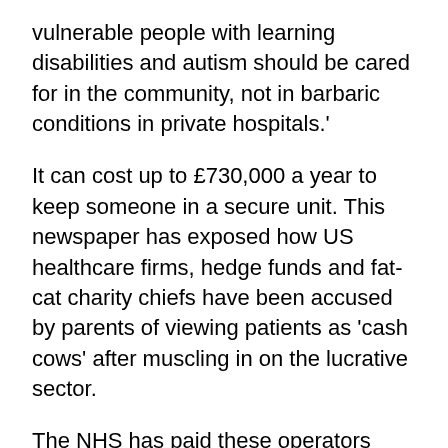vulnerable people with learning disabilities and autism should be cared for in the community, not in barbaric conditions in private hospitals.'
It can cost up to £730,000 a year to keep someone in a secure unit. This newspaper has exposed how US healthcare firms, hedge funds and fat-cat charity chiefs have been accused by parents of viewing patients as 'cash cows' after muscling in on the lucrative sector.
The NHS has paid these operators more than £100 million in the past year. Yet a study by Dimensions, a not-for-profit care provider, found it costs between £161,000 and £172,000 to support a person with severe autism in the community. 'We know people do better living in their communities with th